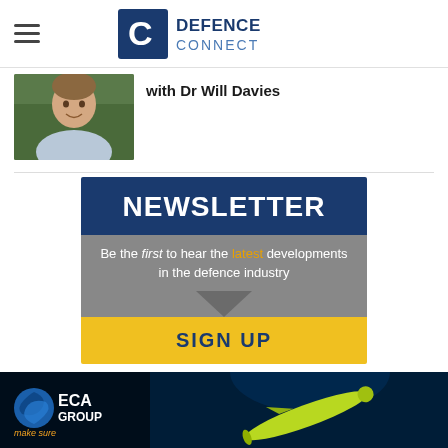[Figure (logo): Defence Connect logo with hamburger menu icon on left and the DC logo with text DEFENCE CONNECT on right]
[Figure (photo): Headshot of Dr Will Davies, a man in a light blue shirt outdoors]
with Dr Will Davies
[Figure (infographic): Newsletter signup banner: dark blue section with NEWSLETTER title, grey section with text 'Be the first to hear the latest developments in the defence industry', downward triangle, yellow SIGN UP button]
[Figure (logo): ECA Group advertisement banner at the bottom with logo, make sure tagline, and underwater vehicle image]